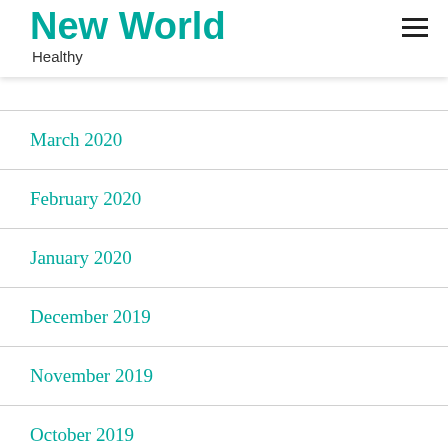New World Healthy
March 2020
February 2020
January 2020
December 2019
November 2019
October 2019
September 2019
August 2019
July 2019
June 2019